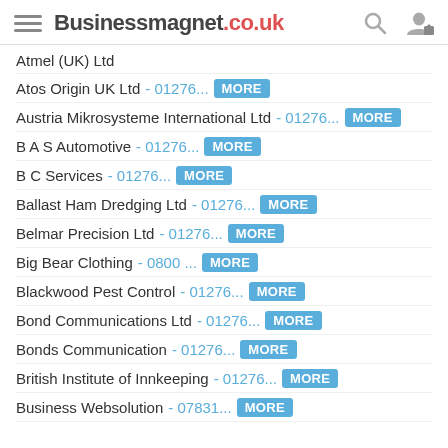Businessmagnet.co.uk
Atmel (UK) Ltd
Atos Origin UK Ltd - 01276... MORE
Austria Mikrosysteme International Ltd - 01276... MORE
B A S Automotive - 01276... MORE
B C Services - 01276... MORE
Ballast Ham Dredging Ltd - 01276... MORE
Belmar Precision Ltd - 01276... MORE
Big Bear Clothing - 0800 ... MORE
Blackwood Pest Control - 01276... MORE
Bond Communications Ltd - 01276... MORE
Bonds Communication - 01276... MORE
British Institute of Innkeeping - 01276... MORE
Business Websolution - 07831... MORE